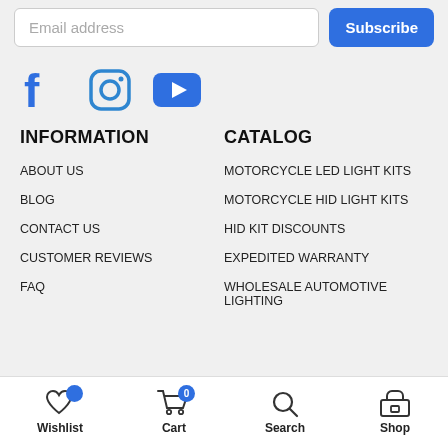Email address
Subscribe
[Figure (logo): Facebook, Instagram, YouTube social media icons in blue]
INFORMATION
CATALOG
ABOUT US
MOTORCYCLE LED LIGHT KITS
BLOG
MOTORCYCLE HID LIGHT KITS
CONTACT US
HID KIT DISCOUNTS
CUSTOMER REVIEWS
EXPEDITED WARRANTY
FAQ
WHOLESALE AUTOMOTIVE LIGHTING
Wishlist  Cart  Search  Shop